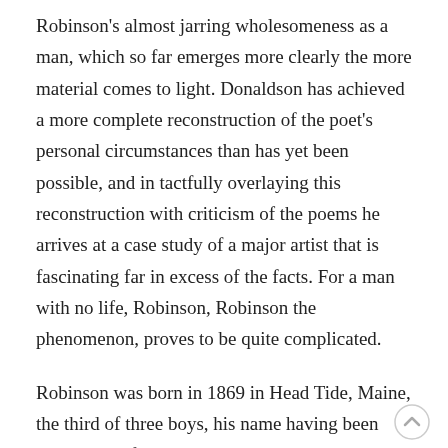Robinson's almost jarring wholesomeness as a man, which so far emerges more clearly the more material comes to light. Donaldson has achieved a more complete reconstruction of the poet's personal circumstances than has yet been possible, and in tactfully overlaying this reconstruction with criticism of the poems he arrives at a case study of a major artist that is fascinating far in excess of the facts. For a man with no life, Robinson, Robinson the phenomenon, proves to be quite complicated.
Robinson was born in 1869 in Head Tide, Maine, the third of three boys, his name having been picked out of a hat at a lawn party. He hated “Edwin” for completing the egregious triple rhyme of his full name, and for resembling “Edward,” with which it was confused all the time, even in his second Pulitzer citation and hometown obituary. A list of poets born within five years of him would include W. B. Yeats,